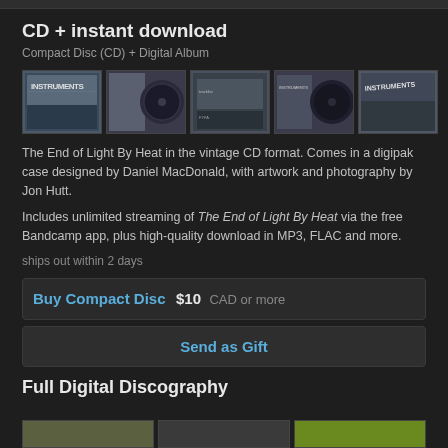CD + instant download
Compact Disc (CD) + Digital Album
[Figure (photo): Five photos of a CD digipak product showing front cover, disc, back cover, open case, and alternate angle views]
The End of Light By Heat in the vintage CD format. Comes in a digipak case designed by Daniel MacDonald, with artwork and photography by Jon Hutt.
Includes unlimited streaming of The End of Light By Heat via the free Bandcamp app, plus high-quality download in MP3, FLAC and more.
ships out within 2 days
Buy Compact Disc  $10 CAD or more
Send as Gift
Full Digital Discography